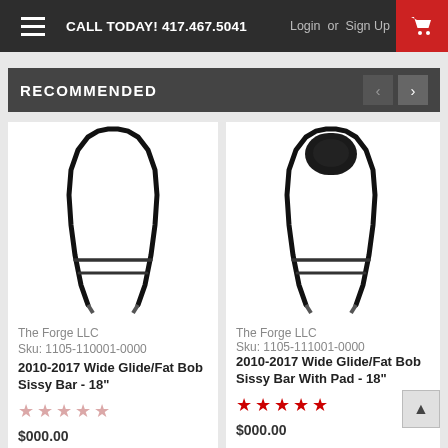CALL TODAY! 417.467.5041  Login or Sign Up
RECOMMENDED
[Figure (photo): Motorcycle sissy bar without pad - 2010-2017 Wide Glide/Fat Bob, 18 inch, black finish, U-shaped frame viewed from front]
The Forge LLC
Sku: 1105-110001-0000
2010-2017 Wide Glide/Fat Bob Sissy Bar - 18"
☆☆☆☆☆
$000.00
[Figure (photo): Motorcycle sissy bar with pad - 2010-2017 Wide Glide/Fat Bob, 18 inch, black finish with backrest pad, viewed from front]
The Forge LLC
Sku: 1105-111001-0000
2010-2017 Wide Glide/Fat Bob Sissy Bar With Pad - 18"
★★★★★
$000.00